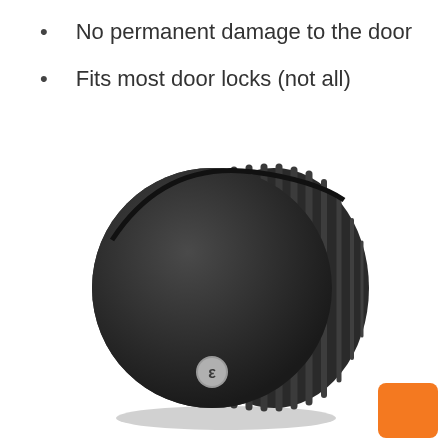No permanent damage to the door
Fits most door locks (not all)
[Figure (photo): August smart lock device — a round, dark matte black cylindrical smart lock with ribbed edges on the right side, viewed from a slight angle, with a small silver August logo badge near the bottom center.]